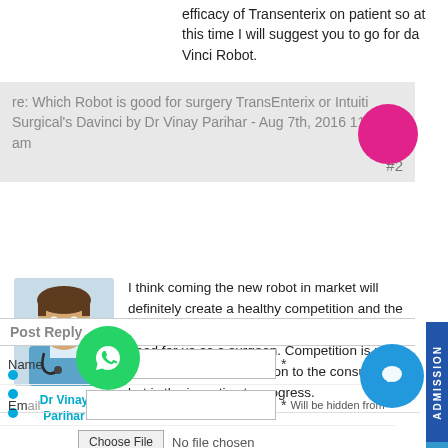efficacy of Transenterix on patient so at this time I will suggest you to go for da Vinci Robot.
re: Which Robot is good for surgery TransEnterix or Intuitive Surgical's Davinci by Dr Vinay Parihar - Aug 7th, 2016 11 am
#2
[Figure (photo): Photo of Dr Vinay Parihar, a doctor wearing blue scrubs]
Dr Vinay Parihar
I think coming the new robot in market will definitely create a healthy competition and the cost of da Vinci robot will come down. It is good for us as a surgeon. Competition is not only the basis of protection to the consumer, but is the incentive to progress.
Post Reply
Name *
Email * Will be hidden from
Choose File No file chosen